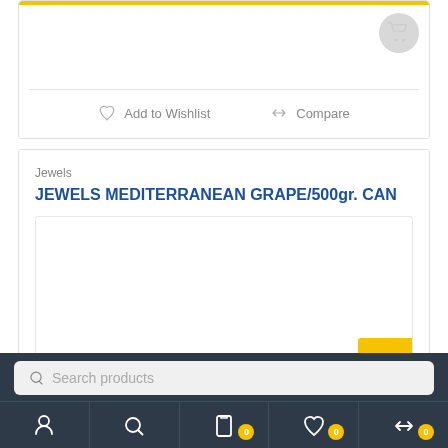[Figure (screenshot): E-commerce product card top section with yellow progress bar, cart icon, divider, Add to Wishlist and Compare buttons]
Add to Wishlist
Compare
Jewels
JEWELS MEDITERRANEAN GRAPE/500gr. CAN
[Figure (photo): Product image placeholder area (white/blank)]
Search products
Navigation bar with user, search, cart (0), wishlist (0), compare (0) icons